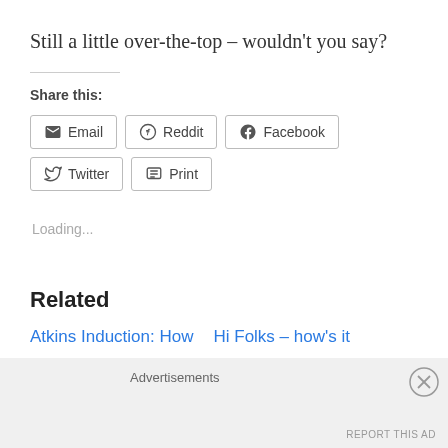Still a little over-the-top – wouldn't you say?
Share this:
[Figure (other): Share buttons row: Email, Reddit, Facebook, Twitter, Print]
Loading...
Related
Atkins Induction: How
Hi Folks – how's it
Advertisements